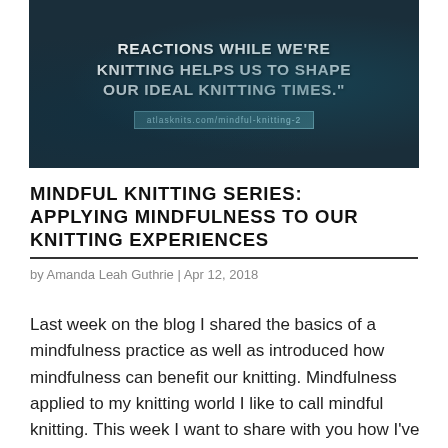[Figure (photo): Dark teal/navy knitting texture background with white bold uppercase text quoting about reactions while knitting, and a teal URL pill showing atlasknits.com/mindful-knitting-2]
MINDFUL KNITTING SERIES: APPLYING MINDFULNESS TO OUR KNITTING EXPERIENCES
by Amanda Leah Guthrie | Apr 12, 2018
Last week on the blog I shared the basics of a mindfulness practice as well as introduced how mindfulness can benefit our knitting. Mindfulness applied to my knitting world I like to call mindful knitting. This week I want to share with you how I've used